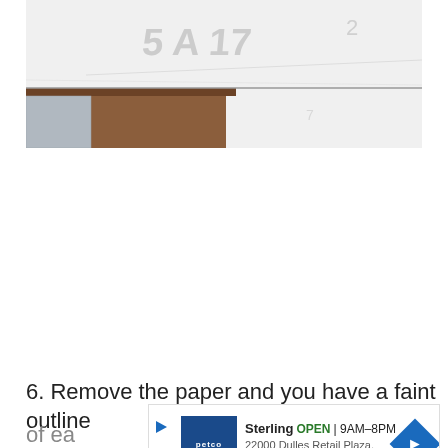[Figure (photo): Close-up photo of a whiteboard or white surface resting on a wooden ledge, with faint pencil or chalk markings visible on the white surface. The surface appears to show partial text/numbers. The wooden ledge is brown and the background is bright white.]
6. Remove the paper and you have a faint outline of ea
[Figure (other): Advertisement banner for Petco Sterling. Shows Petco logo (dark blue square with white paw/petco text), text: Sterling OPEN 9AM-8PM, 22000 Dulles Retail Plaza, #110, Sterling, and a blue diamond navigation arrow icon. Play and close icons on the left.]